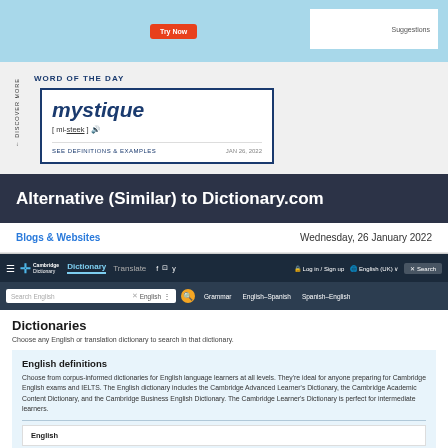[Figure (screenshot): Top banner with light blue background, orange Try Now button on left, white suggestion box on right]
WORD OF THE DAY
mystique
[ mi-steek ] 
SEE DEFINITIONS & EXAMPLES    JAN 26, 2022
Alternative (Similar) to Dictionary.com
Blogs & Websites
Wednesday, 26 January 2022
[Figure (screenshot): Cambridge Dictionary website screenshot showing navigation bar, search bar, Dictionaries heading, English definitions section with description text, and English sub-box at bottom]